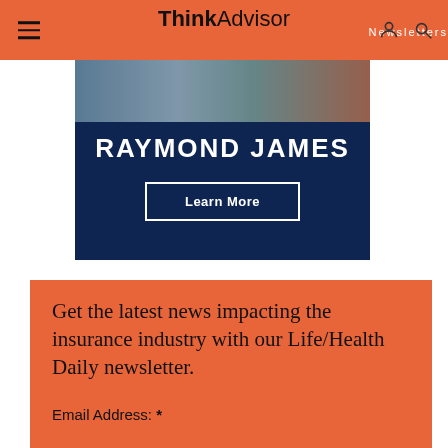ThinkAdvisor Newsletters
[Figure (advertisement): Raymond James advertisement on dark navy background with 'Learn More' button]
Get the latest news impacting the insurance industry with our Life/Health Daily newsletter.
Email Address: *